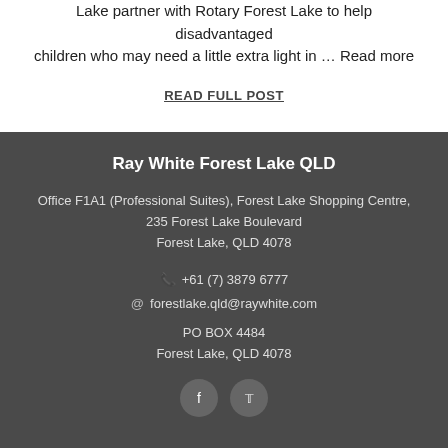Lake partner with Rotary Forest Lake to help disadvantaged children who may need a little extra light in … Read more
READ FULL POST
Ray White Forest Lake QLD
Office F1A1 (Professional Suites), Forest Lake Shopping Centre, 235 Forest Lake Boulevard Forest Lake, QLD 4078
+61 (7) 3879 6777
forestlake.qld@raywhite.com
PO BOX 4484 Forest Lake, QLD 4078
[Figure (illustration): Facebook and Twitter social media icons as dark circles]